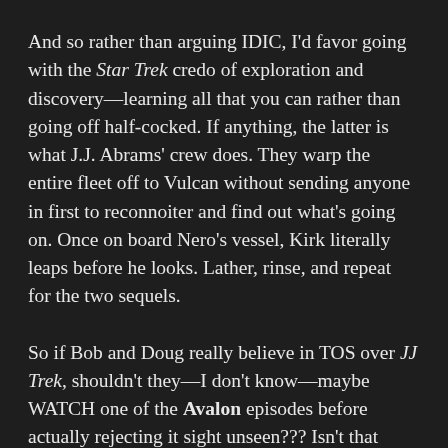And so rather than arguing IDIC, I'd favor going with the Star Trek credo of exploration and discovery—learning all that you can rather than going off half-cocked. If anything, the latter is what J.J. Abrams' crew does. They warp the entire fleet off to Vulcan without sending anyone in first to reconnoiter and find out what's going on. Once on board Nero's vessel, Kirk literally leaps before he looks. Lather, rinse, and repeat for the two sequels.
So if Bob and Doug really believe in TOS over JJ Trek, shouldn't they—I don't know—maybe WATCH one of the Avalon episodes before actually rejecting it sight unseen??? Isn't that